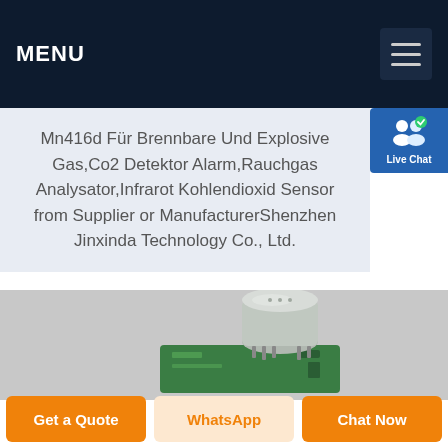MENU
Mn416d Für Brennbare Und Explosive Gas,Co2 Detektor Alarm,Rauchgas Analysator,Infrarot Kohlendioxid Sensor from Supplier or ManufacturerShenzhen Jinxinda Technology Co., Ltd.
[Figure (photo): Close-up photo of a gas sensor module: a cylindrical metallic sensor cap mounted on a green PCB circuit board, photographed on a light gray background.]
Get a Quote | WhatsApp | Chat Now